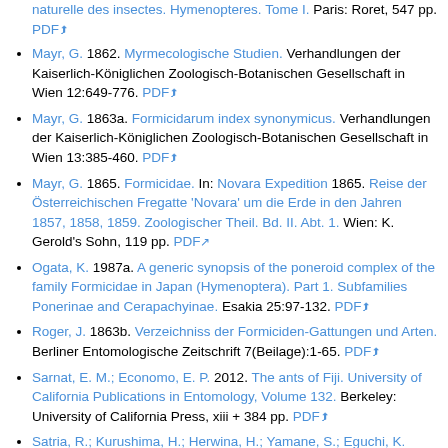(continuation) naturelle des insectes. Hymenopteres. Tome I. Paris: Roret, 547 pp. PDF
Mayr, G. 1862. Myrmecologische Studien. Verhandlungen der Kaiserlich-Königlichen Zoologisch-Botanischen Gesellschaft in Wien 12:649-776. PDF
Mayr, G. 1863a. Formicidarum index synonymicus. Verhandlungen der Kaiserlich-Königlichen Zoologisch-Botanischen Gesellschaft in Wien 13:385-460. PDF
Mayr, G. 1865. Formicidae. In: Novara Expedition 1865. Reise der Österreichischen Fregatte 'Novara' um die Erde in den Jahren 1857, 1858, 1859. Zoologischer Theil. Bd. II. Abt. 1. Wien: K. Gerold's Sohn, 119 pp. PDF
Ogata, K. 1987a. A generic synopsis of the poneroid complex of the family Formicidae in Japan (Hymenoptera). Part 1. Subfamilies Ponerinae and Cerapachyinae. Esakia 25:97-132. PDF
Roger, J. 1863b. Verzeichniss der Formiciden-Gattungen und Arten. Berliner Entomologische Zeitschrift 7(Beilage):1-65. PDF
Sarnat, E. M.; Economo, E. P. 2012. The ants of Fiji. University of California Publications in Entomology, Volume 132. Berkeley: University of California Press, xiii + 384 pp. PDF
Satria, R.; Kurushima, H.; Herwina, H.; Yamane, S.; Eguchi, K. 2015. The trap-jaw ant genus Odontomachus Latreille